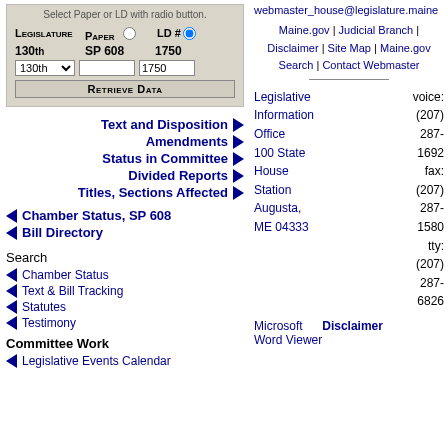[Figure (screenshot): Form box with radio buttons for Legislature/Paper/LD# selection, showing 130th, SP 608, 1750, with a dropdown and Retrieve Data button]
Text and Disposition
Amendments
Status in Committee
Divided Reports
Titles, Sections Affected
Chamber Status, SP 608
Bill Directory
Search
Chamber Status
Text & Bill Tracking
Statutes
Testimony
Committee Work
Legislative Events Calendar
webmaster_house@legislature.maine
Maine.gov | Judicial Branch | Disclaimer | Site Map | Maine.gov Search | Contact Webmaster
Legislative Information Office
100 State House Station
Augusta, ME 04333

voice: (207) 287-1692
fax: (207) 287-1580
tty: (207) 287-6826
Microsoft Word Viewer
Disclaimer